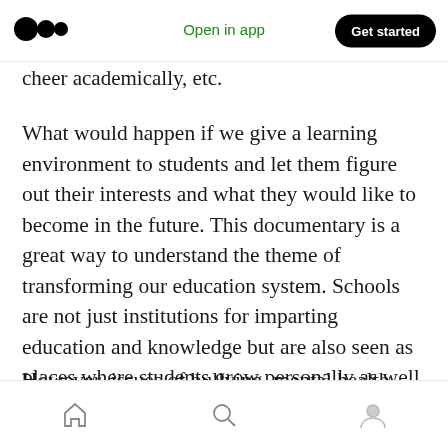Open in app | Get started
cheer academically, etc.
What would happen if we give a learning environment to students and let them figure out their interests and what they would like to become in the future. This documentary is a great way to understand the theme of transforming our education system. Schools are not just institutions for imparting education and knowledge but are also seen as places where students grow personally as well.
However, issues of bullying, mental health, and
Home | Search | Profile